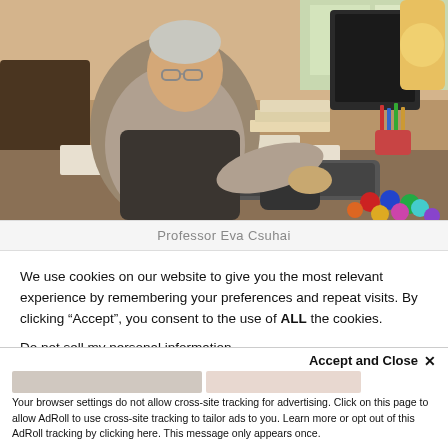[Figure (photo): Professor Eva Csuhai sitting at a cluttered office desk with computer monitor, keyboard, papers, pencils, colored balls, and a lamp in the background.]
Professor Eva Csuhai
We use cookies on our website to give you the most relevant experience by remembering your preferences and repeat visits. By clicking “Accept”, you consent to the use of ALL the cookies.
Do not sell my personal information.
Accept and Close ×
Your browser settings do not allow cross-site tracking for advertising. Click on this page to allow AdRoll to use cross-site tracking to tailor ads to you. Learn more or opt out of this AdRoll tracking by clicking here. This message only appears once.